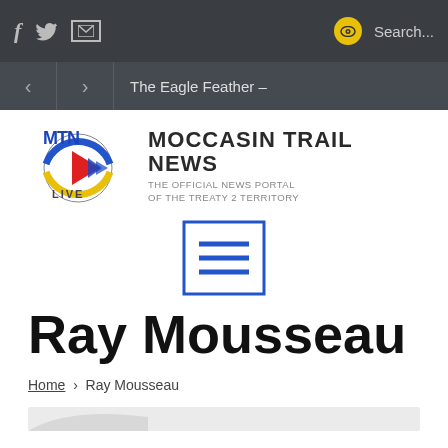f  [twitter]  [mail]   [eye]  Search...
< > The Eagle Feather –
[Figure (logo): MTN Live logo with Moccasin Trail News text - The Official News Portal of the Treaty 2 Territory]
[Figure (other): Menu/hamburger icon - square outline with three horizontal lines]
Ray Mousseau
Home > Ray Mousseau